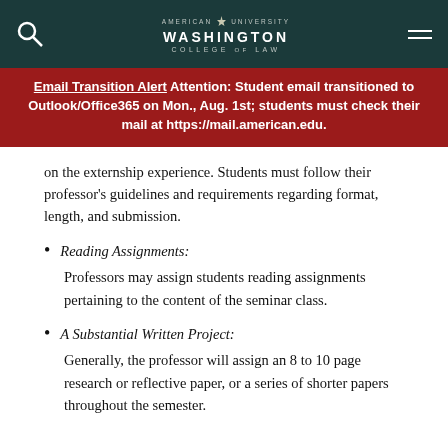American University Washington College of Law
Email Transition Alert Attention: Student email transitioned to Outlook/Office365 on Mon., Aug. 1st; students must check their mail at https://mail.american.edu.
on the externship experience. Students must follow their professor's guidelines and requirements regarding format, length, and submission.
Reading Assignments:
Professors may assign students reading assignments pertaining to the content of the seminar class.
A Substantial Written Project:
Generally, the professor will assign an 8 to 10 page research or reflective paper, or a series of shorter papers throughout the semester.